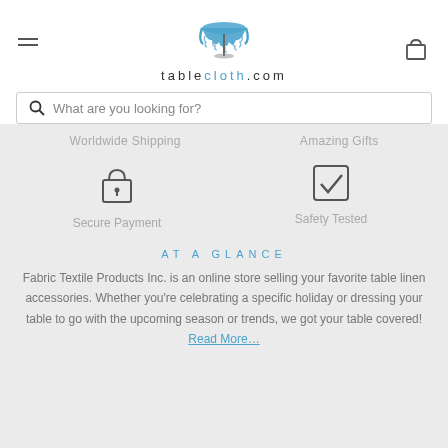[Figure (logo): tablecloth.com logo with blue tablecloth draped over a round table pedestal, with hamburger menu icon on left and shopping bag icon on right]
What are you looking for?
Worldwide Shipping
Amazing Gifts
[Figure (illustration): Lock/padlock icon representing Secure Payment]
Secure Payment
[Figure (illustration): Checkbox with checkmark icon representing Safety Tested]
Safety Tested
AT A GLANCE
Fabric Textile Products Inc. is an online store selling your favorite table linen accessories. Whether you’re celebrating a specific holiday or dressing your table to go with the upcoming season or trends, we got your table covered! Read More…